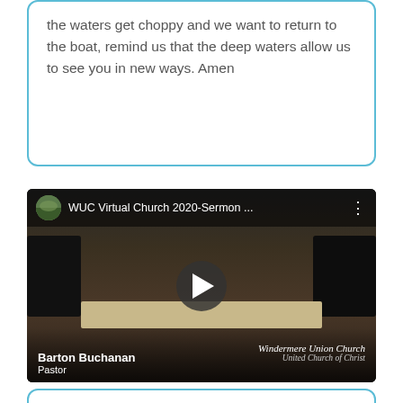the waters get choppy and we want to return to the boat, remind us that the deep waters allow us to see you in new ways. Amen
[Figure (screenshot): YouTube video thumbnail showing WUC Virtual Church 2020-Sermon with a robed pastor (Barton Buchanan) at an altar, with play button overlay. Bottom shows name 'Barton Buchanan, Pastor' and 'Windermere Union Church, United Church of Christ'.]
[Figure (screenshot): Partial view of another bordered box at the bottom of the page, similar blue rounded-corner border style.]